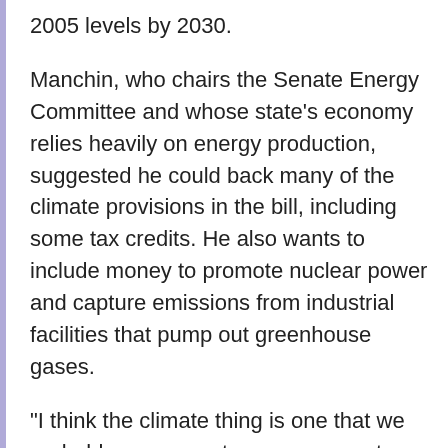2005 levels by 2030.
Manchin, who chairs the Senate Energy Committee and whose state’s economy relies heavily on energy production, suggested he could back many of the climate provisions in the bill, including some tax credits. He also wants to include money to promote nuclear power and capture emissions from industrial facilities that pump out greenhouse gases.
“I think the climate thing is one that we probably can come to an agreement on much easier than anything else,” Manchin told reporters on Tuesday.
Democrats would need all their votes in the 50-50 Senate to advance the measure over unanimous